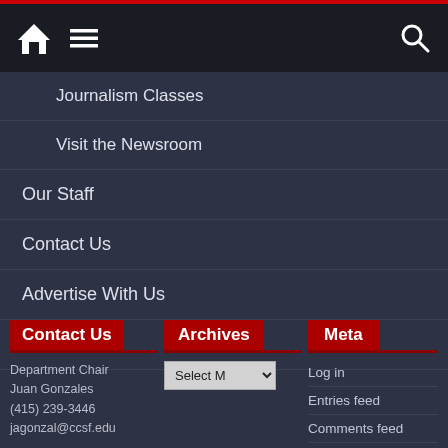Navigation bar with home icon, menu icon, and search icon
Journalism Classes
Visit the Newsroom
Our Staff
Contact Us
Advertise With Us
Print Edition
Contact Us
Department Chair
Juan Gonzales
(415) 239-3446
jagonzal@ccsf.edu

50 Frida Kahlo
Way, Bungalow
Archives
Select Month (dropdown)
Meta
Log in
Entries feed
Comments feed
WordPress.org